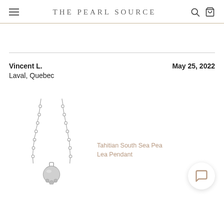The Pearl Source
Vincent L.
Laval, Quebec
May 25, 2022
[Figure (photo): Silver chain necklace with a pearl pendant, photographed against a white background.]
Tahitian South Sea Pearl Lea Pendant